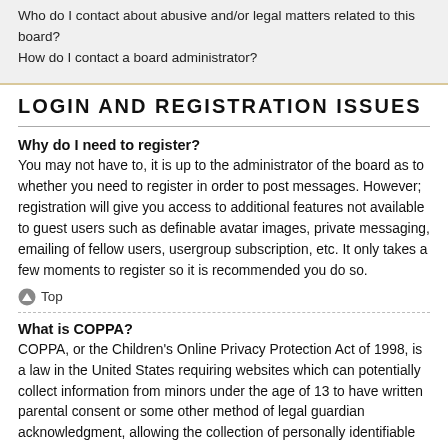Who do I contact about abusive and/or legal matters related to this board?
How do I contact a board administrator?
LOGIN AND REGISTRATION ISSUES
Why do I need to register?
You may not have to, it is up to the administrator of the board as to whether you need to register in order to post messages. However; registration will give you access to additional features not available to guest users such as definable avatar images, private messaging, emailing of fellow users, usergroup subscription, etc. It only takes a few moments to register so it is recommended you do so.
Top
What is COPPA?
COPPA, or the Children's Online Privacy Protection Act of 1998, is a law in the United States requiring websites which can potentially collect information from minors under the age of 13 to have written parental consent or some other method of legal guardian acknowledgment, allowing the collection of personally identifiable